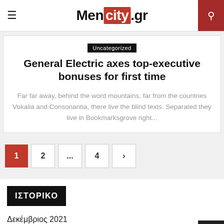Mencity.gr
Uncategorized
General Electric axes top-executive bonuses for first time
Far far away, behind the word mountains, far from the countries Vokalia and Consonantia, there live the blind texts. Separated they live in Bookmarksgrove right...
1 2 ... 4 >
ΙΣΤΟΡΙΚΟ
Δεκέμβριος 2021
Νοέμβριος 2021